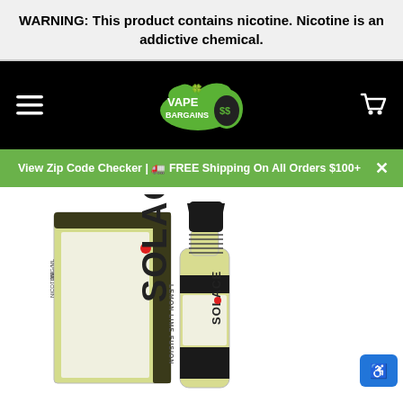WARNING: This product contains nicotine. Nicotine is an addictive chemical.
[Figure (logo): Vape Bargains logo with green dollar sign drop icon on black navigation bar]
View Zip Code Checker | 🚛 FREE Shipping On All Orders $100+
[Figure (photo): Solace Lemon Lime Fusion nicotine e-liquid bottle and box product photo, 3mg/ml nicotine, on white background]